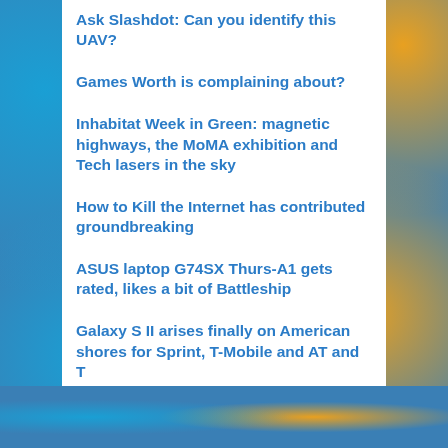Ask Slashdot: Can you identify this UAV?
Games Worth is complaining about?
Inhabitat Week in Green: magnetic highways, the MoMA exhibition and Tech lasers in the sky
How to Kill the Internet has contributed groundbreaking
ASUS laptop G74SX Thurs-A1 gets rated, likes a bit of Battleship
Galaxy S II arises finally on American shores for Sprint, T-Mobile and AT and T
Fujifilm X10 hands on (video)
Canadian Court Sides online anonymity